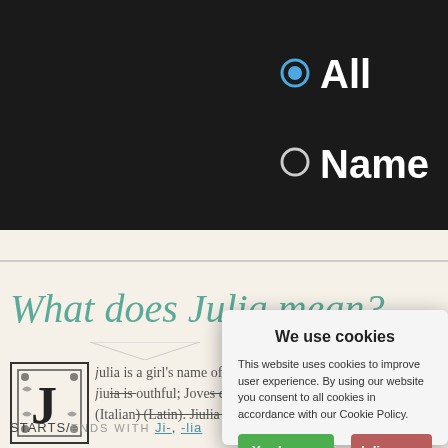[Figure (screenshot): Website interface with dark top navigation bar showing radio buttons for 'All' and 'Name' search options with a text input field labeled 'Ent...']
All
Name
What does Julia mean?
Julia is a girl's name of Latin origin. Julia is youthful; Jove's child'. Julia is also a variant of (Italian) (Latin). Julia is also a variant of
STARTS/ENDS WITH Ji-, -lia
We use cookies
This website uses cookies to improve user experience. By using our website you consent to all cookies in accordance with our Cookie Policy.
Yes I agree
I disagree
Read more
Free cookie consent by cookie-script.com